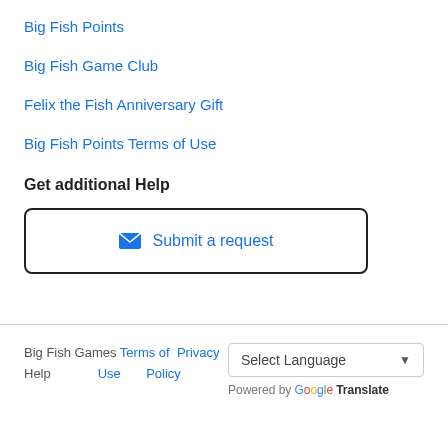Big Fish Points
Big Fish Game Club
Felix the Fish Anniversary Gift
Big Fish Points Terms of Use
Get additional Help
Submit a request
Big Fish Games Help  Terms of Use  Privacy Policy  Select Language  Powered by Google Translate